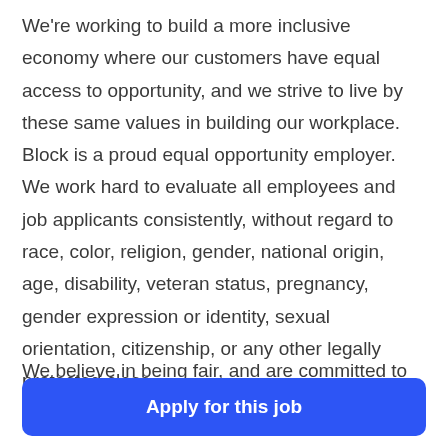We're working to build a more inclusive economy where our customers have equal access to opportunity, and we strive to live by these same values in building our workplace. Block is a proud equal opportunity employer. We work hard to evaluate all employees and job applicants consistently, without regard to race, color, religion, gender, national origin, age, disability, veteran status, pregnancy, gender expression or identity, sexual orientation, citizenship, or any other legally protected class.
We believe in being fair, and are committed to
Apply for this job